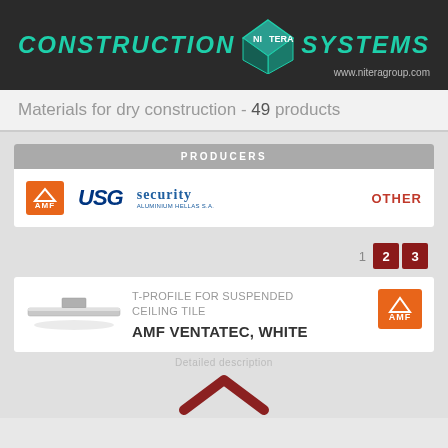[Figure (logo): Construction Nitera Systems logo with teal diamond box logo and website www.niteragroup.com on dark background]
Materials for dry construction - 49 products
PRODUCERS
[Figure (logo): AMF logo (orange square), USG logo (blue italic), Security Aluminium Hellas logo (blue text), and OTHER link in red]
1  2  3 (pagination)
[Figure (photo): T-profile ceiling tile product photo, metallic silver rail]
T-PROFILE FOR SUSPENDED CEILING TILE
AMF VENTATEC, WHITE
[Figure (logo): AMF brand logo orange square]
Detailed description
[Figure (other): Dark red/maroon chevron up arrow at bottom]